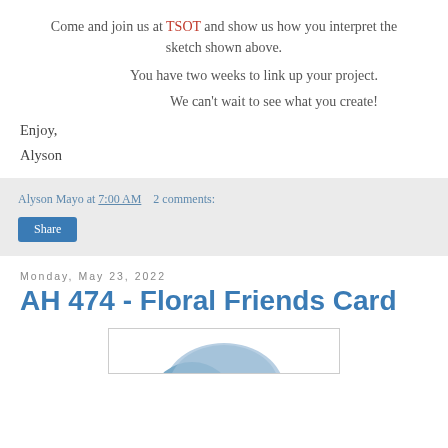Come and join us at TSOT and show us how you interpret the sketch shown above.
You have two weeks to link up your project.
We can't wait to see what you create!
Enjoy,
Alyson
Alyson Mayo at 7:00 AM   2 comments:
Share
Monday, May 23, 2022
AH 474 - Floral Friends Card
[Figure (photo): Partial view of a card image at the bottom of the page, showing a circular floral or decorative element in blue tones]